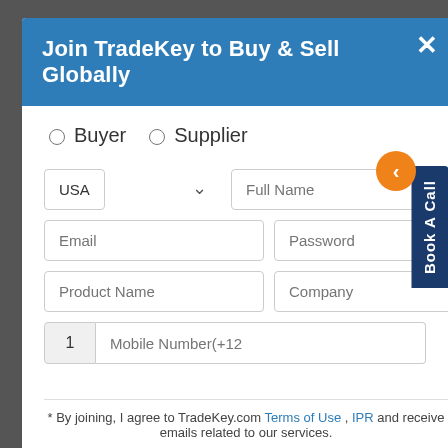Join TradeKey to Buy & Sell Globally
Buyer   Supplier
[Figure (screenshot): Registration form with fields: country dropdown (USA), Full Name, Email, Password, Product Name, Company, Mobile Number with country code 1. Radio buttons for Buyer/Supplier. Book A Call tab on right side with orange back arrow.]
* By joining, I agree to TradeKey.com Terms of Use , IPR and receive emails related to our services.